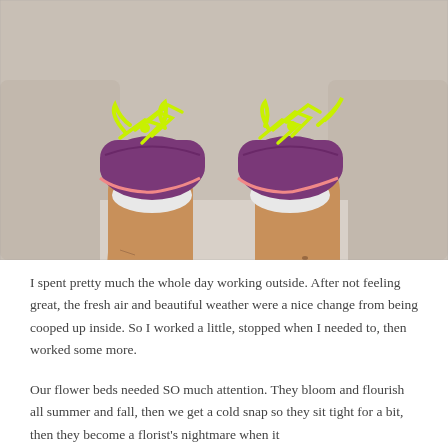[Figure (photo): Close-up photo of a person's lower legs and feet wearing purple athletic shoes with bright neon yellow/green laces, sitting on a couch or cushioned surface. The legs have dirt and scratches on them, suggesting outdoor work.]
I spent pretty much the whole day working outside. After not feeling great, the fresh air and beautiful weather were a nice change from being cooped up inside. So I worked a little, stopped when I needed to, then worked some more.
Our flower beds needed SO much attention. They bloom and flourish all summer and fall, then we get a cold snap so they sit tight for a bit, then they become a florist's nightmare when it...